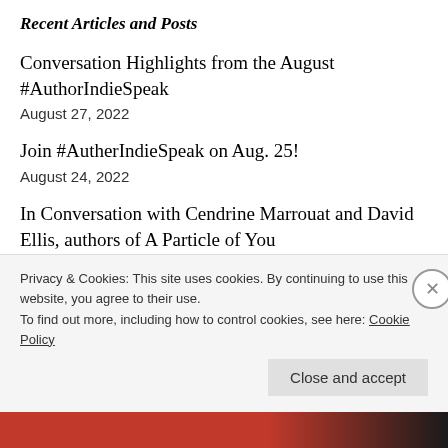Recent Articles and Posts
Conversation Highlights from the August #AuthorIndieSpeak
August 27, 2022
Join #AutherIndieSpeak on Aug. 25!
August 24, 2022
In Conversation with Cendrine Marrouat and David Ellis, authors of A Particle of You
August 19, 2022
Privacy & Cookies: This site uses cookies. By continuing to use this website, you agree to their use.
To find out more, including how to control cookies, see here: Cookie Policy